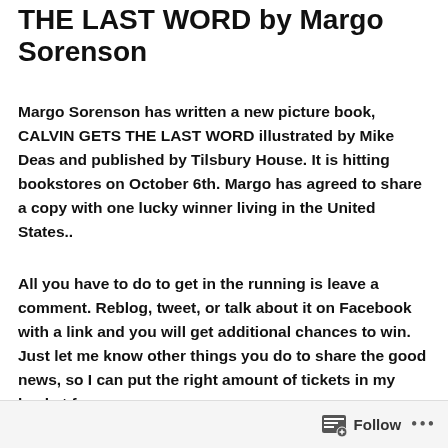THE LAST WORD by Margo Sorenson
Margo Sorenson has written a new picture book, CALVIN GETS THE LAST WORD illustrated by Mike Deas and published by Tilsbury House. It is hitting bookstores on October 6th. Margo has agreed to share a copy with one lucky winner living in the United States..
All you have to do to get in the running is leave a comment. Reblog, tweet, or talk about it on Facebook with a link and you will get additional chances to win. Just let me know other things you do to share the good news, so I can put the right amount of tickets in my basket for you.
Follow